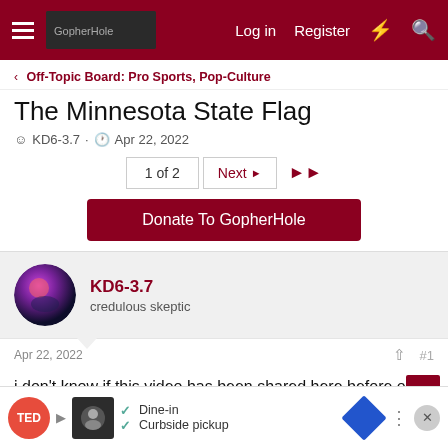GopherHole forum header — Log in | Register
Off-Topic Board: Pro Sports, Pop-Culture
The Minnesota State Flag
KD6-3.7 · Apr 22, 2022
1 of 2  Next ▶▶
Donate To GopherHole
KD6-3.7
credulous skeptic
Apr 22, 2022  #1
i don't know if this video has been shared here before or if we've had this conversation before, and this guy is sort of a self parody (no way his real name is Roman Mars):